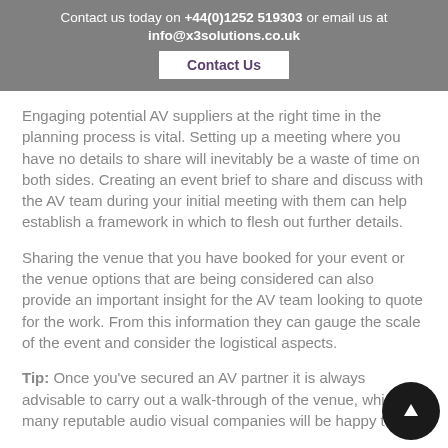Contact us today on +44(0)1252 519303 or email us at info@x3solutions.co.uk
Contact Us
Engaging potential AV suppliers at the right time in the planning process is vital. Setting up a meeting where you have no details to share will inevitably be a waste of time on both sides. Creating an event brief to share and discuss with the AV team during your initial meeting with them can help establish a framework in which to flesh out further details.
Sharing the venue that you have booked for your event or the venue options that are being considered can also provide an important insight for the AV team looking to quote for the work. From this information they can gauge the scale of the event and consider the logistical aspects.
Tip: Once you've secured an AV partner it is always advisable to carry out a walk-through of the venue, which many reputable audio visual companies will be happy to do.